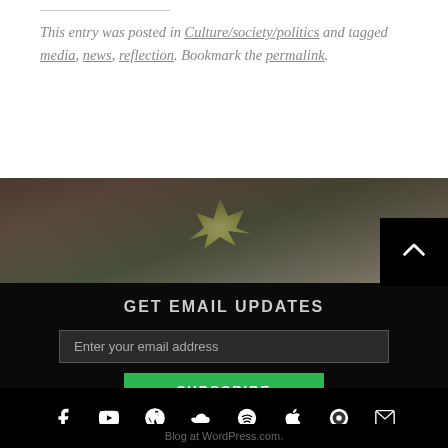This entry was posted in Culture/society/politics and tagged media, news, reflection. Bookmark the permalink.
[Figure (photo): Close-up blurred photo of a plant sprout/seedling against a dark background]
GET EMAIL UPDATES
Enter your email address
SUBSCRIBE
[Figure (other): Social media icons row: Facebook, YouTube, WordPress, SoundCloud, Spotify, Apple, Darkroom/Compass, Email]
Blog at WordPress.com.